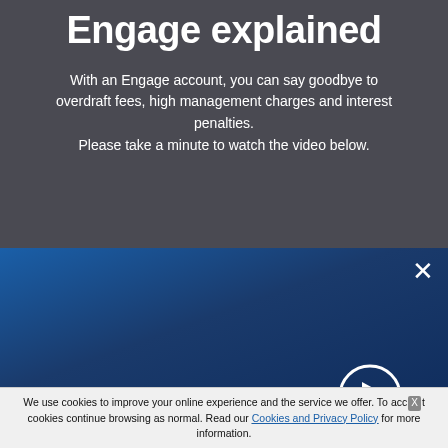Engage explained
With an Engage account, you can say goodbye to overdraft fees, high management charges and interest penalties.
Please take a minute to watch the video below.
[Figure (screenshot): Video player screenshot showing retailer logos (Amazon, eBay, Marks & Spencer, Toshiba, ASDA, Tesco) at the bottom with a play/upload button circle on the right, set against a dark blue gradient background. A close (X) button is in the top-right corner.]
We use cookies to improve your online experience and the service we offer. To accept cookies continue browsing as normal. Read our Cookies and Privacy Policy for more information.